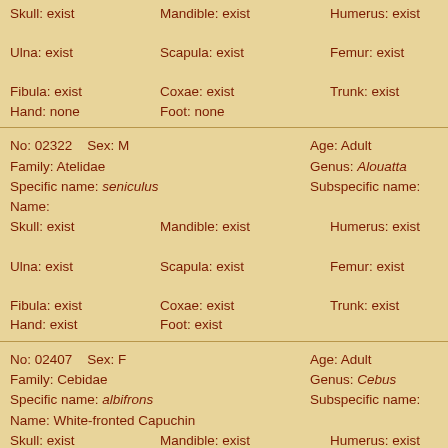Skull: exist | Mandible: exist | Humerus: exist | Radius: ex | Ulna: exist | Scapula: exist | Femur: exist | Tibia: exis | Fibula: exist | Coxae: exist | Trunk: exist | Hand: none | Foot: none
No: 02322 | Sex: M | Age: Adult | Family: Atelidae | Genus: Alouatta | Specific name: seniculus | Subspecific name: | Name: | Skull: exist | Mandible: exist | Humerus: exist | Radius: ex | Ulna: exist | Scapula: exist | Femur: exist | Tibia: exis | Fibula: exist | Coxae: exist | Trunk: exist | Hand: exist | Foot: exist
No: 02407 | Sex: F | Age: Adult | Family: Cebidae | Genus: Cebus | Specific name: albifrons | Subspecific name: | Name: White-fronted Capuchin | Skull: exist | Mandible: exist | Humerus: exist | Radius: ex | Ulna: exist | Scapula: exist | Femur: exist | Tibia: exis | Fibula: exist | Coxae: exist | Trunk: exist | Hand: exist | Foot: exist
No: 02497 | Sex: M | Age: Adult | Family: Cebidae | Genus: Cebus | Specific name: albifrons | Subspecific name: | Name: White-fronted Capuchin | Skull: exist | Mandible: exist | Humerus: exist | Radius: ex | Ulna: parts | Scapula: exist | Femur: exist | Tibia: exis | Fibula: exist | Coxae: exist | Trunk: exist | Hand: exist | Foot: exist